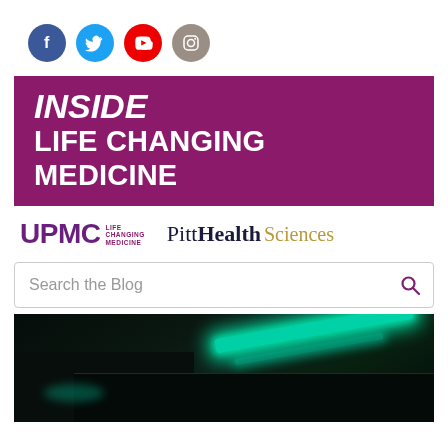[Figure (infographic): Social media icons: Facebook (blue circle), Twitter (light blue circle), YouTube (red circle), Instagram (beige/brown circle)]
INSIDE LIFE CHANGING MEDICINE
[Figure (logo): UPMC Life Changing Medicine logo and Pitt Health Sciences logo side by side]
Search the Blog
[Figure (photo): Close-up photo of a dark electronic device with green/cyan glowing lights, possibly a medical or lab instrument]